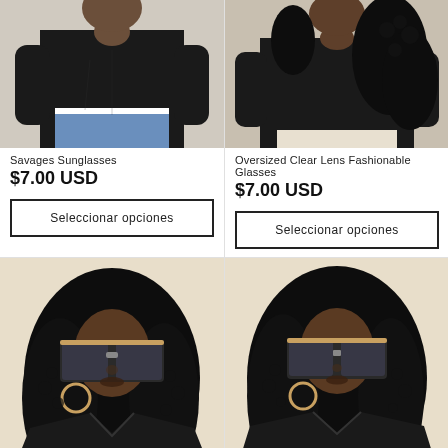[Figure (photo): Woman in black long-sleeve top and denim shorts, no sunglasses, top portion of body visible]
[Figure (photo): Woman in black long-sleeve top with curly hair, no sunglasses, top portion of body visible]
Savages Sunglasses
$7.00 USD
Oversized Clear Lens Fashionable Glasses
$7.00 USD
Seleccionar opciones
Seleccionar opciones
[Figure (photo): Woman wearing large square sunglasses, hoop earrings, black v-neck top, long curly hair]
[Figure (photo): Woman wearing large square sunglasses, hoop earrings, black v-neck top, long curly hair, slightly different angle]